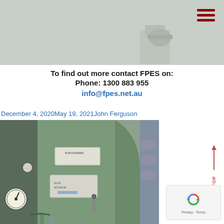[Figure (photo): Top strip image of industrial machinery, partially visible, green/grey tones]
To find out more contact FPES on:
Phone: 1300 883 955
info@fpes.net.au
December 4, 2020May 19, 2021John Ferguson
[Figure (photo): Industrial machinery photo showing Woodward governor/actuator equipment and hydraulic components, green painted steel enclosures with gauges and pipes]
[Figure (other): Back to top arrow icon in red/coral color with TOP label]
[Figure (other): reCAPTCHA badge with Privacy and Terms links]